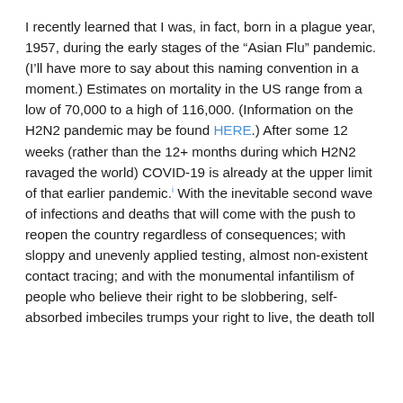I recently learned that I was, in fact, born in a plague year, 1957, during the early stages of the “Asian Flu” pandemic. (I’ll have more to say about this naming convention in a moment.) Estimates on mortality in the US range from a low of 70,000 to a high of 116,000. (Information on the H2N2 pandemic may be found HERE.) After some 12 weeks (rather than the 12+ months during which H2N2 ravaged the world) COVID-19 is already at the upper limit of that earlier pandemic.ⁱ With the inevitable second wave of infections and deaths that will come with the push to reopen the country regardless of consequences; with sloppy and unevenly applied testing, almost non-existent contact tracing; and with the monumental infantilism of people who believe their right to be slobbering, self-absorbed imbeciles trumps your right to live, the death toll